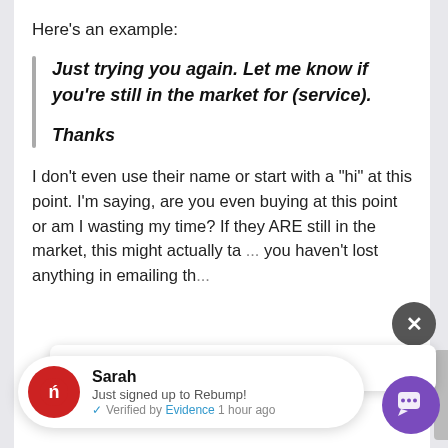Here's an example:
Just trying you again. Let me know if you're still in the market for (service).

Thanks
I don't even use their name or start with a "hi" at this point. I'm saying, are you even buying at this point or am I wasting my time? If they ARE still in the market, this might actually ta... you haven't lost anything in emailing th...
Welcome to Rebump Support.
Sarah
Just signed up to Rebump!
Verified by Evidence 1 hour ago
...sponse, I hit the... with the takeaway close